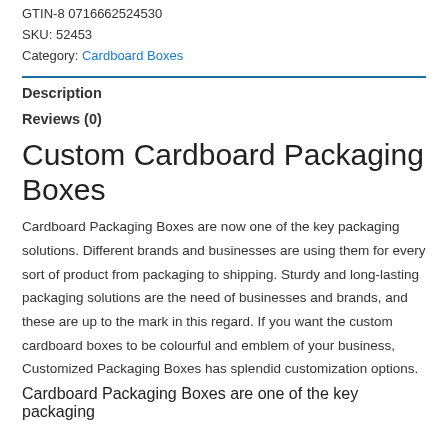GTIN-8 0716662524530
SKU: 52453
Category: Cardboard Boxes
Description
Reviews (0)
Custom Cardboard Packaging Boxes
Cardboard Packaging Boxes are now one of the key packaging solutions. Different brands and businesses are using them for every sort of product from packaging to shipping. Sturdy and long-lasting packaging solutions are the need of businesses and brands, and these are up to the mark in this regard. If you want the custom cardboard boxes to be colourful and emblem of your business, Customized Packaging Boxes has splendid customization options.
Cardboard Packaging Boxes are one of the key packaging